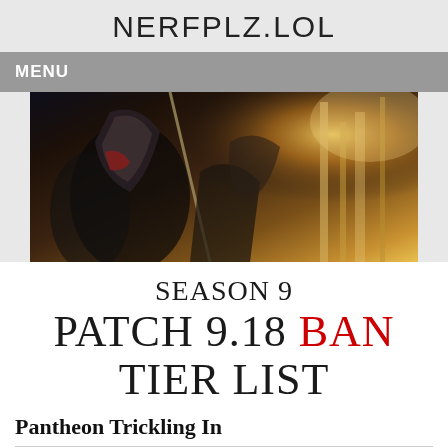NERFPLZ.LOL
MENU
[Figure (illustration): Fantasy/game artwork showing armored characters with weapons, warm golden sunlight in the background]
SEASON 9 PATCH 9.18 BAN TIER LIST
Pantheon Trickling In
Most of the bans this time around are fairly standard and you'll be seeing a lot of familiar faces. Pantheon's the only outlier this time around, and players in Diamond are picking him up a lot more lately to the point where you may